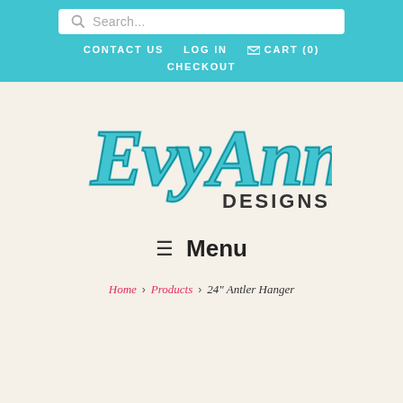Search... | CONTACT US | LOG IN | CART (0) | CHECKOUT
[Figure (logo): EvyAnn Designs logo in teal/turquoise cursive script with 'DESIGNS' in smaller dark serif text]
≡ Menu
Home › Products › 24" Antler Hanger